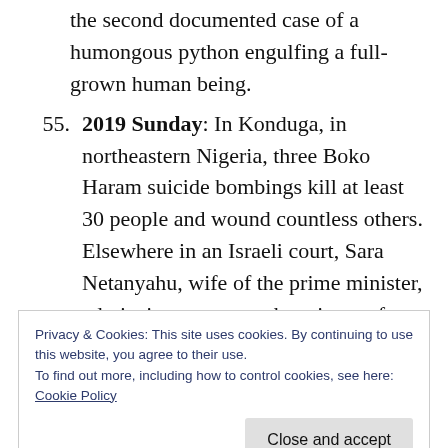the second documented case of a humongous python engulfing a full-grown human being.
55. 2019 Sunday: In Konduga, in northeastern Nigeria, three Boko Haram suicide bombings kill at least 30 people and wound countless others.  Elsewhere in an Israeli court, Sara Netanyahu, wife of the prime minister, admits in open court the misuse of state funds.  Her husband, meanwhile,
Privacy & Cookies: This site uses cookies. By continuing to use this website, you agree to their use.
To find out more, including how to control cookies, see here:
Cookie Policy
[Close and accept]
as sovereign Israeli soil.